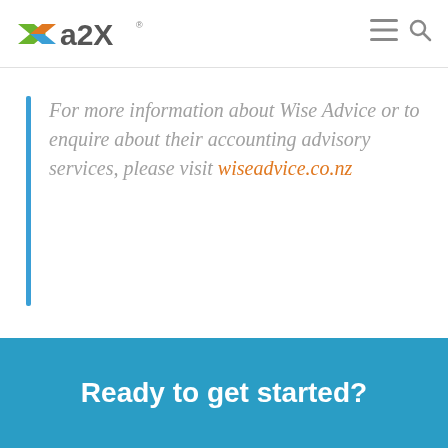a2X
For more information about Wise Advice or to enquire about their accounting advisory services, please visit wiseadvice.co.nz
Ready to get started?